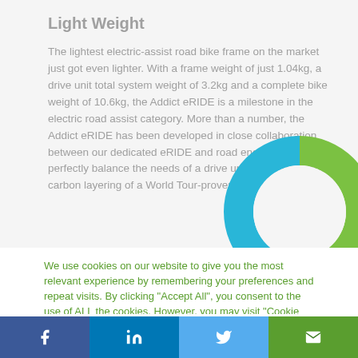Light Weight
The lightest electric-assist road bike frame on the market just got even lighter. With a frame weight of just 1.04kg, a drive unit total system weight of 3.2kg and a complete bike weight of 10.6kg, the Addict eRIDE is a milestone in the electric road assist category. More than a number, the Addict eRIDE has been developed in close collaboration between our dedicated eRIDE and road engineers to perfectly balance the needs of a drive unit with the superior carbon layering of a World Tour-proven road bi...
[Figure (donut-chart): Donut chart with two segments: blue (left/top half) and green (right/bottom half), representing weight distribution components.]
We use cookies on our website to give you the most relevant experience by remembering your preferences and repeat visits. By clicking "Accept All", you consent to the use of ALL the cookies. However, you may visit "Cookie Settings" to provide a controlled consent.
Cookie Settings | Accept All
[Figure (infographic): Social sharing bar with Facebook, LinkedIn, Twitter, and email icons on colored backgrounds.]